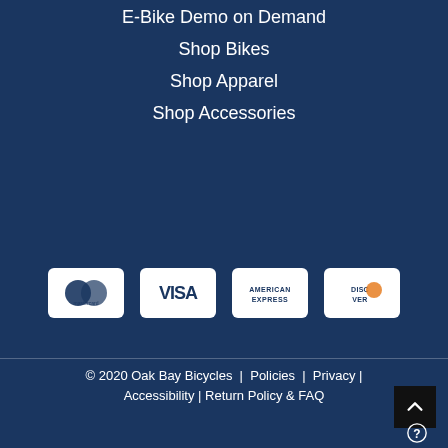E-Bike Demo on Demand
Shop Bikes
Shop Apparel
Shop Accessories
[Figure (logo): Payment method icons: Mastercard, Visa, American Express, Discover]
© 2020 Oak Bay Bicycles | Policies | Privacy | Accessibility | Return Policy & FAQ